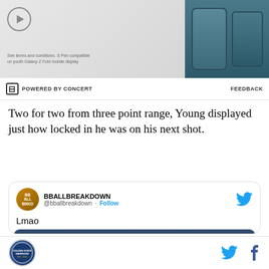[Figure (photo): Advertisement banner showing a smartphone product with play button icon]
⊟ POWERED BY CONCERT   FEEDBACK
Two for two from three point range, Young displayed just how locked in he was on his next shot.
[Figure (screenshot): Embedded tweet from @bballbreakdown account with Twitter logo. Account name: BBALLBREAKDOWN. Text: 'Lmao'. Contains a video thumbnail showing a basketball game with 'Watch on Twitter' button.]
Site logo icon, Twitter bird icon, Facebook f icon